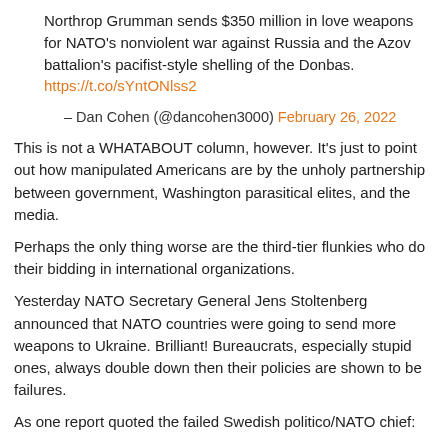Northrop Grumman sends $350 million in love weapons for NATO's nonviolent war against Russia and the Azov battalion's pacifist-style shelling of the Donbas. https://t.co/sYntONlss2
— Dan Cohen (@dancohen3000) February 26, 2022
This is not a WHATABOUT column, however. It's just to point out how manipulated Americans are by the unholy partnership between government, Washington parasitical elites, and the media.
Perhaps the only thing worse are the third-tier flunkies who do their bidding in international organizations.
Yesterday NATO Secretary General Jens Stoltenberg announced that NATO countries were going to send more weapons to Ukraine. Brilliant! Bureaucrats, especially stupid ones, always double down then their policies are shown to be failures.
As one report quoted the failed Swedish politico/NATO chief:
'We see rhetoric, the messages, which is strongly indicating that the aim is to remove the democratically-elected